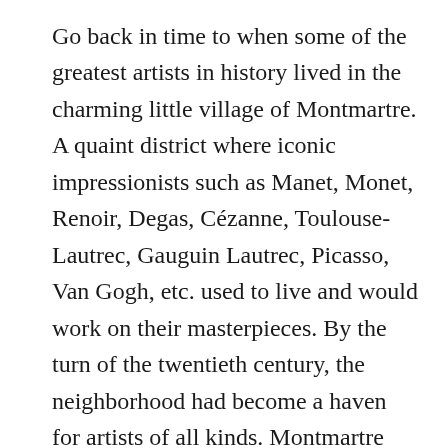Go back in time to when some of the greatest artists in history lived in the charming little village of Montmartre. A quaint district where iconic impressionists such as Manet, Monet, Renoir, Degas, Cézanne, Toulouse-Lautrec, Gauguin Lautrec, Picasso, Van Gogh, etc. used to live and would work on their masterpieces. By the turn of the twentieth century, the neighborhood had become a haven for artists of all kinds. Montmartre had become the epicenter of Parisian intellectual and artistic activity. This was also probably because at the end of the nineteenth century, whenever alcohol came into the city of Montmartre, their alcohol wouldn't get taxed since it was outside of city limits. This made day drinking a very